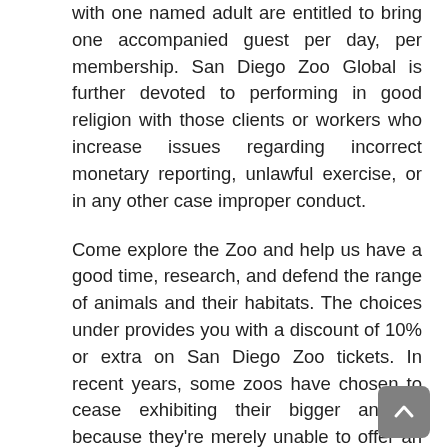with one named adult are entitled to bring one accompanied guest per day, per membership. San Diego Zoo Global is further devoted to performing in good religion with those clients or workers who increase issues regarding incorrect monetary reporting, unlawful exercise, or in any other case improper conduct.
Come explore the Zoo and help us have a good time, research, and defend the range of animals and their habitats. The choices under provides you with a discount of 10% or extra on San Diego Zoo tickets. In recent years, some zoos have chosen to cease exhibiting their bigger animals because they're merely unable to offer an ample enclosure for them (Lemonic, McDowell, and Bjerklie 50).
On Thursday evening, SeaWorld San Diego launched an announcement to NBC 7 saying the amusement